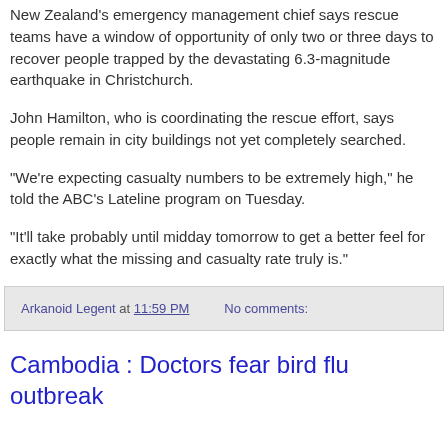New Zealand's emergency management chief says rescue teams have a window of opportunity of only two or three days to recover people trapped by the devastating 6.3-magnitude earthquake in Christchurch.
John Hamilton, who is coordinating the rescue effort, says people remain in city buildings not yet completely searched.
"We're expecting casualty numbers to be extremely high," he told the ABC's Lateline program on Tuesday.
"It'll take probably until midday tomorrow to get a better feel for exactly what the missing and casualty rate truly is."
Arkanoid Legent at 11:59 PM   No comments:
Cambodia : Doctors fear bird flu outbreak